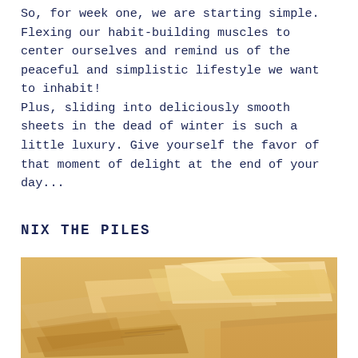So, for week one, we are starting simple. Flexing our habit-building muscles to center ourselves and remind us of the peaceful and simplistic lifestyle we want to inhabit!
Plus, sliding into deliciously smooth sheets in the dead of winter is such a little luxury. Give yourself the favor of that moment of delight at the end of your day...
NIX THE PILES
[Figure (photo): A golden/amber tinted photo of a pile of papers and envelopes scattered on a surface, viewed from above at a slight angle.]